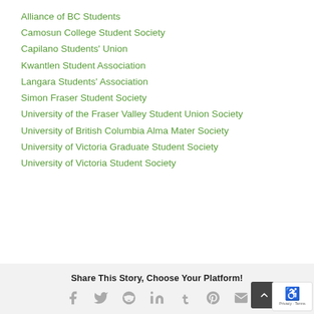Alliance of BC Students
Camosun College Student Society
Capilano Students' Union
Kwantlen Student Association
Langara Students' Association
Simon Fraser Student Society
University of the Fraser Valley Student Union Society
University of British Columbia Alma Mater Society
University of Victoria Graduate Student Society
University of Victoria Student Society
Share This Story, Choose Your Platform!
[Figure (infographic): Social sharing icons: Facebook, Twitter, Reddit, LinkedIn, Tumblr, Pinterest, Email]